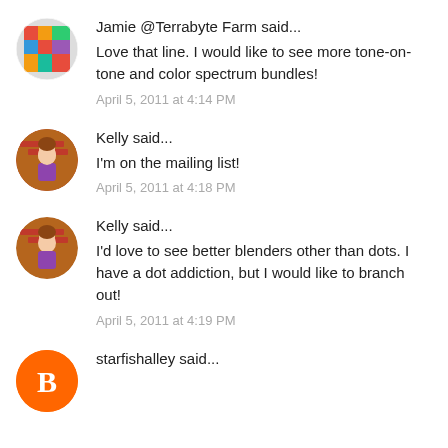Jamie @Terrabyte Farm said...
Love that line. I would like to see more tone-on-tone and color spectrum bundles!
April 5, 2011 at 4:14 PM
Kelly said...
I'm on the mailing list!
April 5, 2011 at 4:18 PM
Kelly said...
I'd love to see better blenders other than dots. I have a dot addiction, but I would like to branch out!
April 5, 2011 at 4:19 PM
starfishalley said...